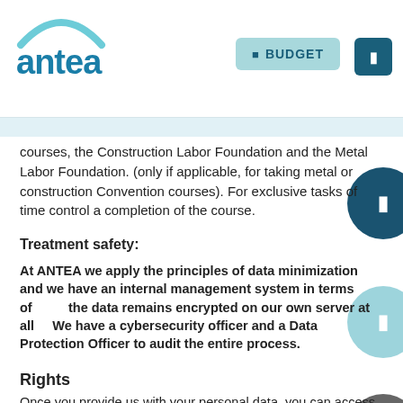[Figure (logo): Antea logo with teal arc and blue text]
courses, the Construction Labor Foundation and the Metal Labor Foundation. (only if applicable, for taking metal or construction Convention courses). For exclusive tasks of time control a… completion of the course.
Treatment safety:
At ANTEA we apply the principles of data minimization and we have an internal management system in terms of … the data remains encrypted on our own server at all … We have a cybersecurity officer and a Data Protection Officer to audit the entire process.
Rights
Once you provide us with your personal data, you can access it and exercise your rights contacting us.